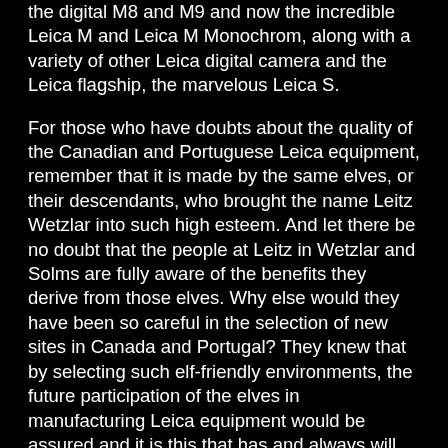the digital M8 and M9 and now the incredible Leica M and Leica M Monochrom, along with a variety of other Leica digital camera and the Leica flagship, the marvelous Leica S.
For those who have doubts about the quality of the Canadian and Portuguese Leica equipment, remember that it is made by the same elves, or their descendants, who brought the name Leitz Wetzlar into such high esteem.  And let there be no doubt that the people at Leitz in Wetzlar and Solms are fully aware of the benefits they derive from those elves.  Why else would they have been so careful in the selection of new sites in Canada and Portugal?  They knew that by selecting such elf-friendly environments, the future participation of the elves in manufacturing Leica equipment would be assured and it is this that has and always will set Leicas apart from their competitors.
Legends say that the Wetzlar elves are descendants from an old Roman elf with the name Cameraus Automaticus, who is known for making some early